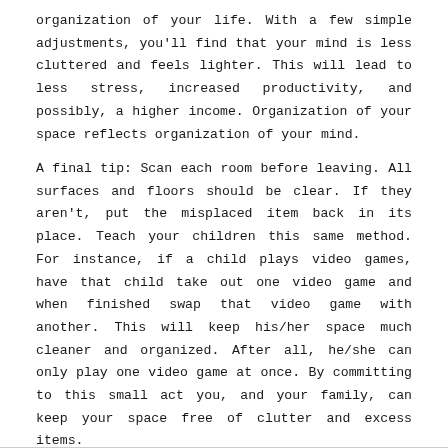organization of your life. With a few simple adjustments, you'll find that your mind is less cluttered and feels lighter. This will lead to less stress, increased productivity, and possibly, a higher income. Organization of your space reflects organization of your mind.
A final tip: Scan each room before leaving. All surfaces and floors should be clear. If they aren't, put the misplaced item back in its place. Teach your children this same method. For instance, if a child plays video games, have that child take out one video game and when finished swap that video game with another. This will keep his/her space much cleaner and organized. After all, he/she can only play one video game at once. By committing to this small act you, and your family, can keep your space free of clutter and excess items.